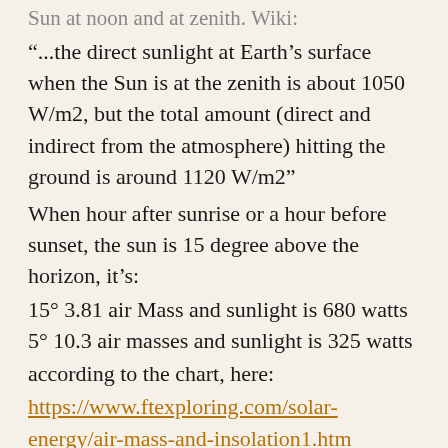Sun at noon and at zenith. Wiki:
“...the direct sunlight at Earth’s surface when the Sun is at the zenith is about 1050 W/m2, but the total amount (direct and indirect from the atmosphere) hitting the ground is around 1120 W/m2”
When hour after sunrise or a hour before sunset, the sun is 15 degree above the horizon, it’s:
15° 3.81 air Mass and sunlight is 680 watts
5° 10.3 air masses and sunlight is 325 watts
according to the chart, here:
https://www.ftexploring.com/solar-energy/air-mass-and-insolation1.htm
It doesn’t mention the direct sunlight and indirect sunlight as wiki does- but it seem with more scattering sunlight
one should “more” of it indirect or perhaps large